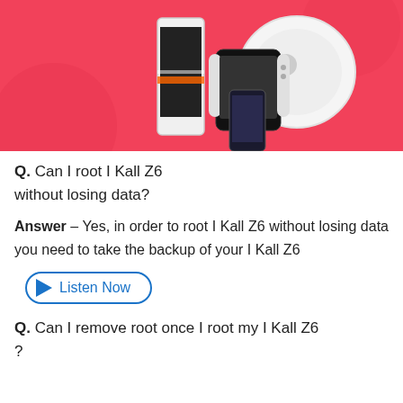[Figure (illustration): Pink/coral banner showing electronics products: a tablet/phone, Nintendo Switch, and a robot vacuum cleaner on a coral-pink background with circular decorative elements.]
Q. Can I root I Kall Z6 without losing data?
Answer – Yes, in order to root I Kall Z6 without losing data you need to take the backup of your I Kall Z6
[Figure (other): Listen Now button with play triangle icon, blue border, rounded pill shape]
Q. Can I remove root once I root my I Kall Z6 ?